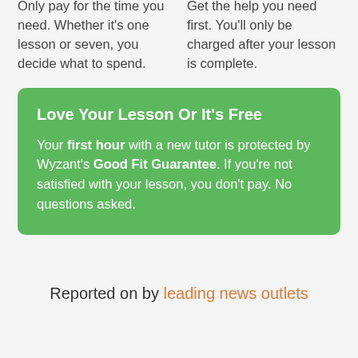Only pay for the time you need. Whether it's one lesson or seven, you decide what to spend.
Get the help you need first. You'll only be charged after your lesson is complete.
Love Your Lesson Or It's Free
Your first hour with a new tutor is protected by Wyzant's Good Fit Guarantee. If you're not satisfied with your lesson, you don't pay. No questions asked.
Reported on by leading news outlets